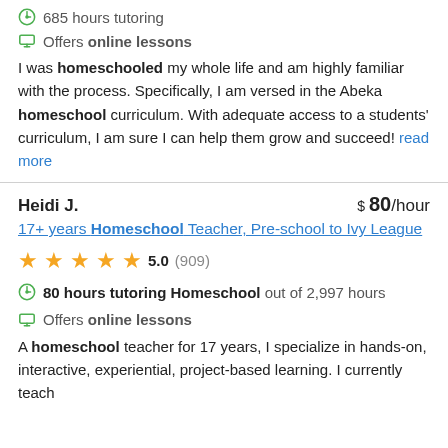685 hours tutoring
Offers online lessons
I was homeschooled my whole life and am highly familiar with the process. Specifically, I am versed in the Abeka homeschool curriculum. With adequate access to a students' curriculum, I am sure I can help them grow and succeed! read more
Heidi J. $ 80/hour
17+ years Homeschool Teacher, Pre-school to Ivy League
5.0 (909)
80 hours tutoring Homeschool out of 2,997 hours
Offers online lessons
A homeschool teacher for 17 years, I specialize in hands-on, interactive, experiential, project-based learning. I currently teach